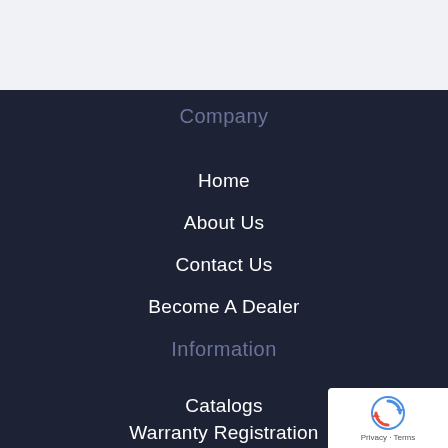Company
Home
About Us
Contact Us
Become A Dealer
Information
Catalogs
Warranty Registration
Privacy Policy
[Figure (other): reCAPTCHA badge with Privacy - Terms text]